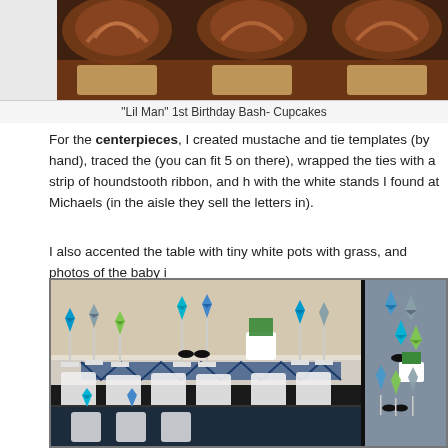[Figure (photo): Chocolate cupcakes with swirled frosting, watermark reads 'LiveMomWork.com @livemom']
"Lil Man" 1st Birthday Bash- Cupcakes
For the centerpieces, I created mustache and tie templates (by hand), traced the (you can fit 5 on there), wrapped the ties with a strip of houndstooth ribbon, and k with the white stands I found at Michaels (in the aisle they sell the letters in).
I also accented the table with tiny white pots with grass, and photos of the baby i
[Figure (photo): Party table centerpieces with colorful paper ties and mustaches in blue, green, gray on white stands, shown in two side-by-side photos]